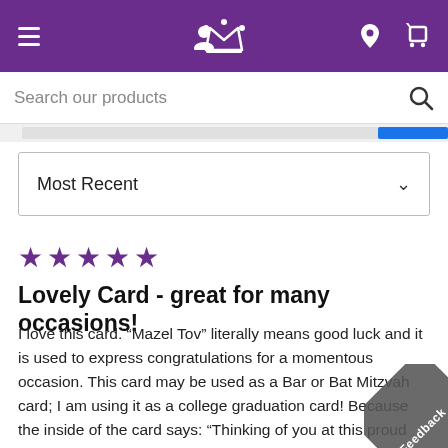[Figure (screenshot): Purple navigation bar with hamburger menu, user icon, crown logo, location pin icon, and shopping cart icon on white icon buttons]
Search our products
[Figure (screenshot): Most Recent dropdown selector with chevron]
★★★★★
Lovely Card - great for many occasions!
I love this card. “Mazel Tov” literally means good luck and it is used to express congratulations for a momentous occasion. This card may be used as a Bar or Bat Mitzvah card; I am using it as a college graduation card! Because the inside of the card says: “Thinking of you at this proud moment of your life and wishing you success always,” this card can be used for any momentous occasion.